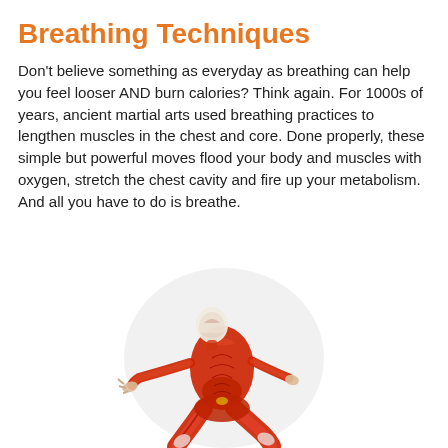Breathing Techniques
Don't believe something as everyday as breathing can help you feel looser AND burn calories? Think again. For 1000s of years, ancient martial arts used breathing practices to lengthen muscles in the chest and core. Done properly, these simple but powerful moves flood your body and muscles with oxygen, stretch the chest cavity and fire up your metabolism. And all you have to do is breathe.
[Figure (illustration): Anatomical illustration of a muscular human figure in a seated breathing/yoga pose, shown inside a light gray circle. The figure shows exposed musculature in red tones, in a back-arching position with legs bent and arms extended behind.]